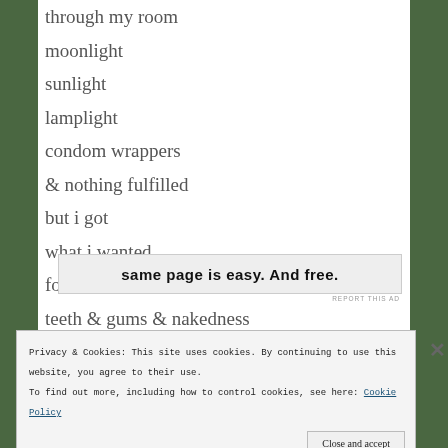through my room
moonlight
sunlight
lamplight
condom wrappers
& nothing fulfilled
but i got
what i wanted
for 30 seconds
teeth & gums & nakedness
[Figure (other): Advertisement banner with bold text: 'same page is easy. And free.']
REPORT THIS AD
Privacy & Cookies: This site uses cookies. By continuing to use this website, you agree to their use.
To find out more, including how to control cookies, see here: Cookie Policy
Close and accept